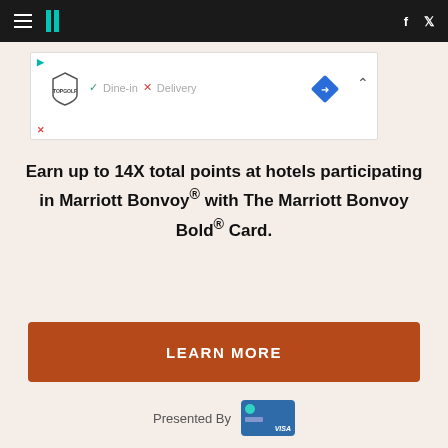HuffPost navigation with hamburger menu, logo, Facebook and Twitter icons
[Figure (screenshot): TopGolf advertisement banner showing play button, TopGolf logo, Dine-in and Delivery options, direction diamond icon, and chevron]
Earn up to 14X total points at hotels participating in Marriott Bonvoy® with The Marriott Bonvoy Bold® Card.
LEARN MORE
Presented By [Marriott Bonvoy Bold Card image]